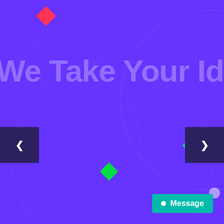[Figure (illustration): Purple/violet background with decorative circle arcs, a red diamond shape top-left, a green diamond bottom-center, a teal diamond right-center, and a light circle bottom-right. Navigation arrow buttons on left and right edges. Message button bottom-right. Large semi-transparent text reads 'We Take Your Idea &'.]
We Take Your Idea &
Message